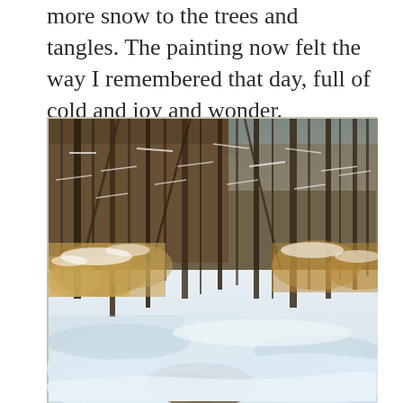more snow to the trees and tangles. The painting now felt the way I remembered that day, full of cold and joy and wonder.
[Figure (illustration): A painting of a winter forest scene with bare deciduous trees and shrubs covered in snow, with a partially frozen creek or muddy water visible in the foreground and a blue sky visible through the tree canopy in the upper right.]